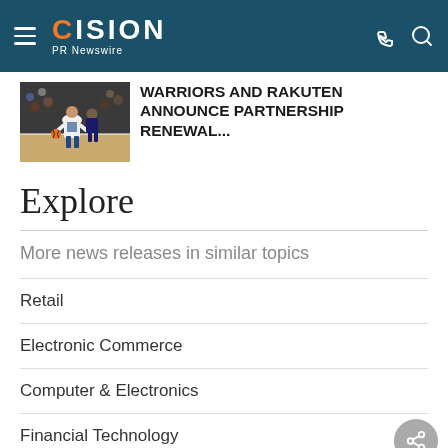CISION PR Newswire
[Figure (photo): Basketball player in white Warriors jersey dribbling during a game, crowd in background]
WARRIORS AND RAKUTEN ANNOUNCE PARTNERSHIP RENEWAL...
Explore
More news releases in similar topics
Retail
Electronic Commerce
Computer & Electronics
Financial Technology